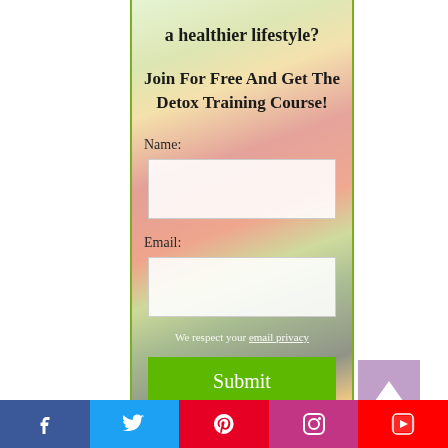a healthier lifestyle?
Join For Free And Get The Detox Training Course!
Name:
Email:
We respect your email privacy
Submit
[Figure (infographic): Social media share bar with icons for Facebook (blue), Twitter (light blue), Pinterest (red), Instagram (purple/gradient), YouTube (red)]